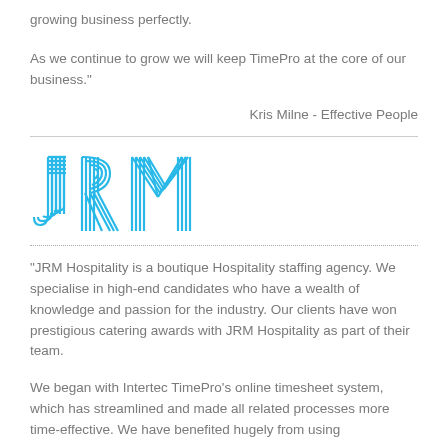growing business perfectly.
As we continue to grow we will keep TimePro at the core of our business."
Kris Milne - Effective People
[Figure (logo): JRM logo in cyan/blue with striped lettering style]
"JRM Hospitality is a boutique Hospitality staffing agency. We specialise in high-end candidates who have a wealth of knowledge and passion for the industry. Our clients have won prestigious catering awards with JRM Hospitality as part of their team.
We began with Intertec TimePro's online timesheet system, which has streamlined and made all related processes more time-effective. We have benefited hugely from using...